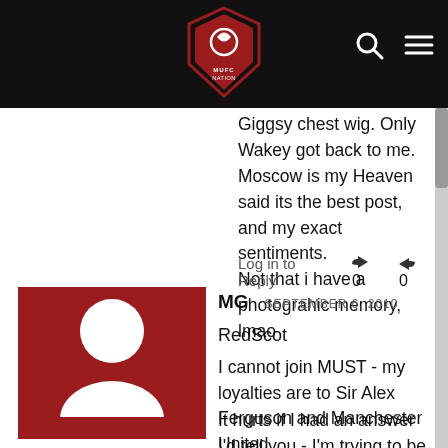MUFC NATION header with logo, search, and menu
Giggsy chest wig. Only Wakey got back to me. Moscow is my Heaven said its the best post, and my exact sentiments.
Not that i have a photograhic memory, lmao
Log in to Reply  👍 0  👎 0
MG  SEPTEMBER 6, 2010
RedScot
I cannot join MUST - my loyalties are to Sir Alex Ferguson and Manchester United
It hurts if I had an answer I'd tell you - I'm trying to be honest when I say its not as easy as joining MUST